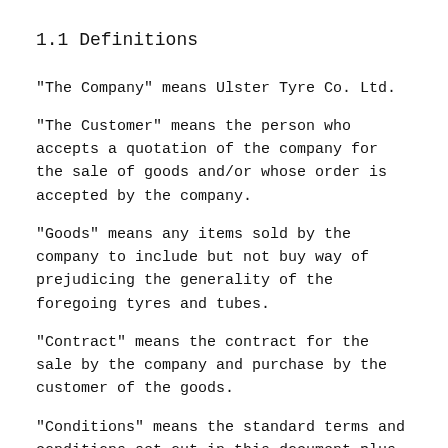1.1 Definitions
"The Company" means Ulster Tyre Co. Ltd.
"The Customer" means the person who accepts a quotation of the company for the sale of goods and/or whose order is accepted by the company.
"Goods" means any items sold by the company to include but not buy way of prejudicing the generality of the foregoing tyres and tubes.
"Contract" means the contract for the sale by the company and purchase by the customer of the goods.
"Conditions" means the standard terms and conditions set out in this document plus any special terms and conditions as agreed in writing between the Customer and the Company.